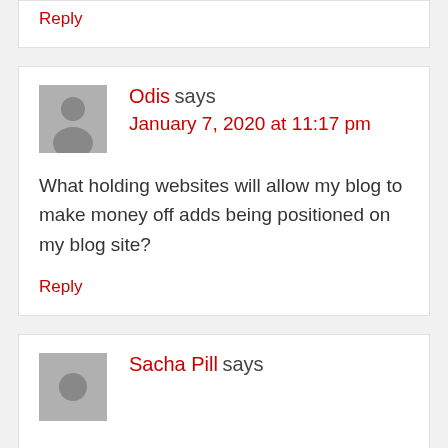Reply
Odis says
January 7, 2020 at 11:17 pm
What holding websites will allow my blog to make money off adds being positioned on my blog site?
Reply
Sacha Pill says